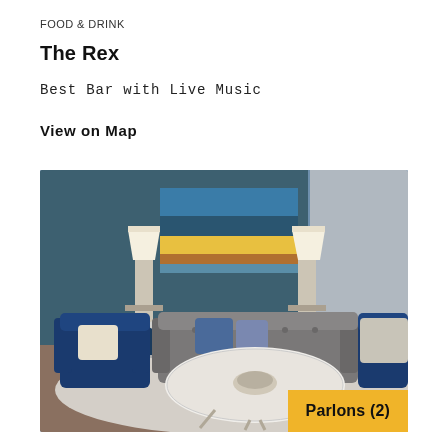FOOD & DRINK
The Rex
Best Bar with Live Music
View on Map
[Figure (photo): Interior photo of a bar lounge area with blue velvet chairs, a tufted grey sofa, two table lamps, an abstract painting on a teal/blue wall, and a white oval coffee table on a light rug. A yellow badge in the bottom-right corner reads 'Parlons (2)'.]
Parlons (2)